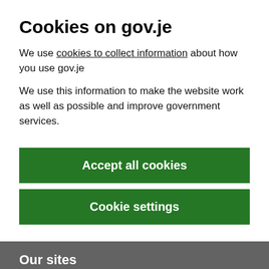Cookies on gov.je
We use cookies to collect information about how you use gov.je
We use this information to make the website work as well as possible and improve government services.
Accept all cookies
Cookie settings
Our sites
Blog
Digital Jersey
Jersey Business